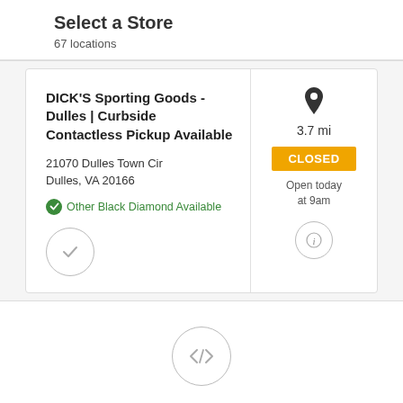Select a Store
67 locations
DICK'S Sporting Goods - Dulles | Curbside Contactless Pickup Available
21070 Dulles Town Cir
Dulles, VA 20166
Other Black Diamond Available
3.7 mi
CLOSED
Open today at 9am
PRODUCT INFORMATION